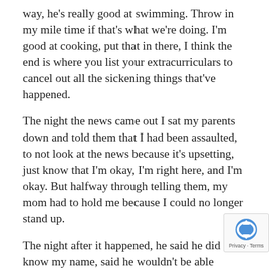way, he's really good at swimming. Throw in my mile time if that's what we're doing. I'm good at cooking, put that in there, I think the end is where you list your extracurriculars to cancel out all the sickening things that've happened.
The night the news came out I sat my parents down and told them that I had been assaulted, to not look at the news because it's upsetting, just know that I'm okay, I'm right here, and I'm okay. But halfway through telling them, my mom had to hold me because I could no longer stand up.
The night after it happened, he said he didn't know my name, said he wouldn't be able to identify my face in a lineup, didn't mention